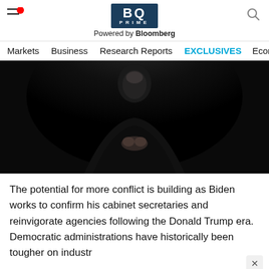BQ PRIME — Powered by Bloomberg. Navigation: Markets, Business, Research Reports, EXCLUSIVES, Economy
[Figure (photo): Dark photo of a person in a black suit with hands clasped together against a dark background, lit from above]
The potential for more conflict is building as Biden works to confirm his cabinet secretaries and reinvigorate agencies following the Donald Trump era. Democratic administrations have historically been tougher on industr